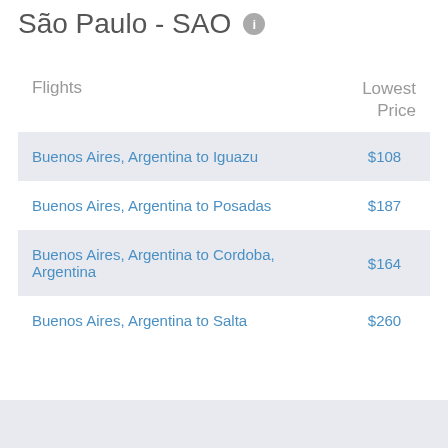São Paulo - SAO
| Flights | Lowest Price |
| --- | --- |
| Buenos Aires, Argentina to Iguazu | $108 |
| Buenos Aires, Argentina to Posadas | $187 |
| Buenos Aires, Argentina to Cordoba, Argentina | $164 |
| Buenos Aires, Argentina to Salta | $260 |